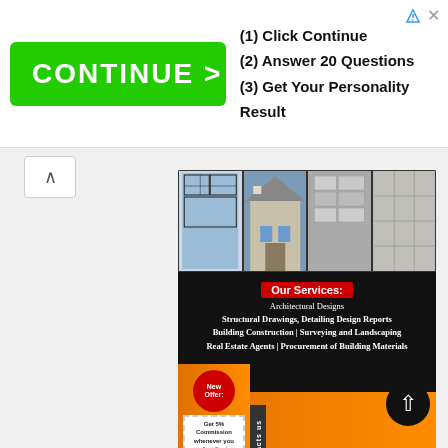[Figure (screenshot): Advertisement banner with green CONTINUE button and three steps: (1) Click Continue, (2) Answer 20 Questions, (3) Get Your Personality Result]
[Figure (infographic): Speckdec Constructions company advertisement showing architectural photos, services list, contact info, new offer badge, and tagline 'Not your ordinary Construction Company']